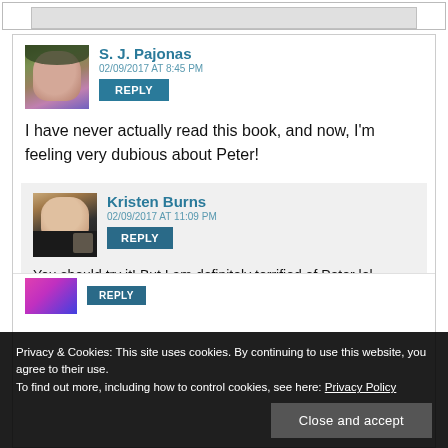[Figure (screenshot): Top partial UI bar with grey rectangle]
S. J. Pajonas
02/09/2017 AT 8:45 PM
REPLY
I have never actually read this book, and now, I'm feeling very dubious about Peter!
Kristen Burns
02/09/2017 AT 11:09 PM
REPLY
You should try it! But I am definitely terrified of Peter lol.
Privacy & Cookies: This site uses cookies. By continuing to use this website, you agree to their use.
To find out more, including how to control cookies, see here: Privacy Policy
Close and accept